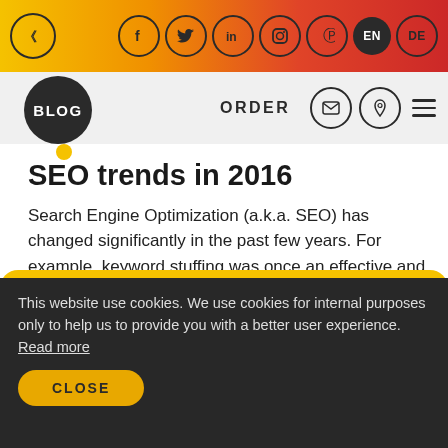« f t in instagram pinterest EN DE
[Figure (logo): BLOG circular logo badge, dark circle with white text]
ORDER
SEO trends in 2016
Search Engine Optimization (a.k.a. SEO) has changed significantly in the past few years. For example, keyword stuffing was once an effective and accepted technique which enabled manipulation o...
MAY 5, 2018
This website use cookies. We use cookies for internal purposes only to help us to provide you with a better user experience. Read more
CLOSE